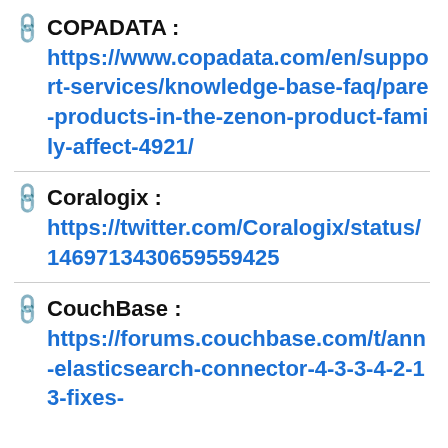COPADATA : https://www.copadata.com/en/support-services/knowledge-base-faq/pare-products-in-the-zenon-product-family-affect-4921/
Coralogix : https://twitter.com/Coralogix/status/1469713430659559425
CouchBase : https://forums.couchbase.com/t/ann-elasticsearch-connector-4-3-3-4-2-13-fixes-